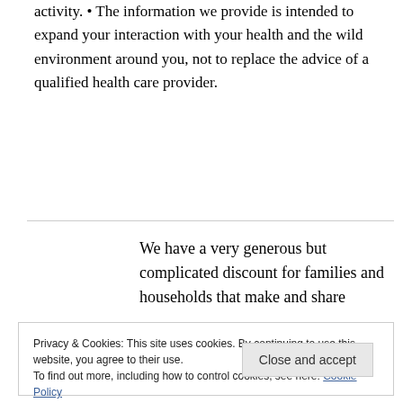activity. • The information we provide is intended to expand your interaction with your health and the wild environment around you, not to replace the advice of a qualified health care provider.
Submit
We have a very generous but complicated discount for families and households that make and share
Privacy & Cookies: This site uses cookies. By continuing to use this website, you agree to their use.
To find out more, including how to control cookies, see here: Cookie Policy
Close and accept